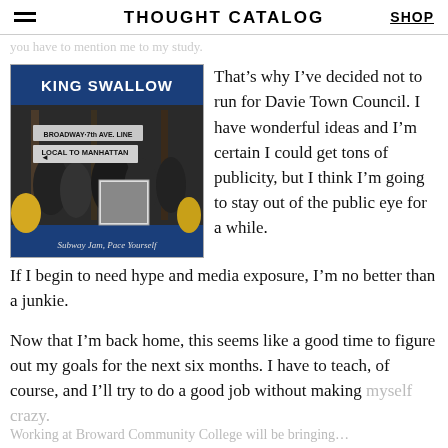THOUGHT CATALOG | SHOP
[faded partial text line]
[Figure (photo): Album cover for King Swallow 'Subway Jam, Pace Yourself' featuring a subway scene with signs reading BROADWAY-7th AVE. LINE and LOCAL TO MANHATTAN, crowd of people in station.]
That’s why I’ve decided not to run for Davie Town Council. I have wonderful ideas and I’m certain I could get tons of publicity, but I think I’m going to stay out of the public eye for a while.
If I begin to need hype and media exposure, I’m no better than a junkie.
Now that I’m back home, this seems like a good time to figure out my goals for the next six months. I have to teach, of course, and I’ll try to do a good job without making myself crazy.
Working at Broward Community College will be bringing...